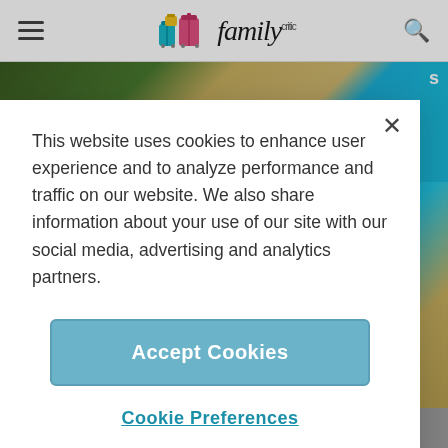Family Critic — website header with hamburger menu and search icon
[Figure (photo): Aerial view of a resort pool area with lounge chairs and blue pool water, seen from above. Navigation dots at bottom showing 6 slides, first dot active.]
This website uses cookies to enhance user experience and to analyze performance and traffic on our website. We also share information about your use of our site with our social media, advertising and analytics partners.
Accept Cookies
Cookie Preferences